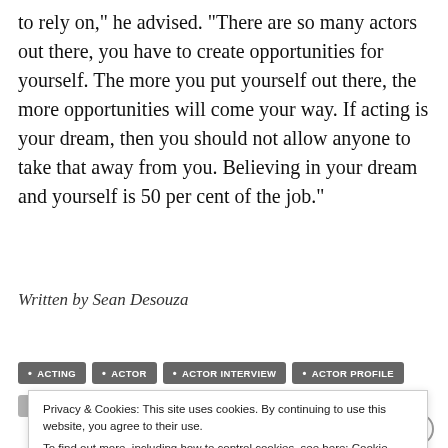to rely on," he advised. "There are so many actors out there, you have to create opportunities for yourself. The more you put yourself out there, the more opportunities will come your way. If acting is your dream, then you should not allow anyone to take that away from you. Believing in your dream and yourself is 50 per cent of the job."
Written by Sean Desouza
ACTING
ACTOR
ACTOR INTERVIEW
ACTOR PROFILE
ACTOR SPOTLIGHT
AUSTRALIAN TV
ENTERTAINMENT
Privacy & Cookies: This site uses cookies. By continuing to use this website, you agree to their use.
To find out more, including how to control cookies, see here: Cookie Policy